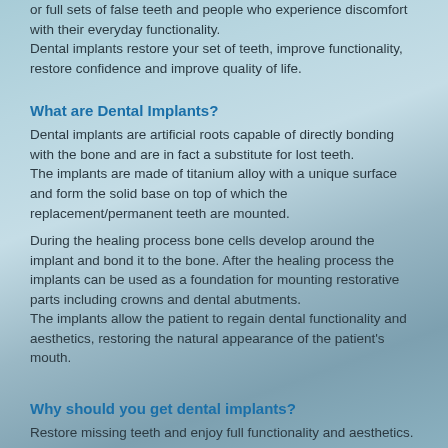or full sets of false teeth and people who experience discomfort with their everyday functionality.
Dental implants restore your set of teeth, improve functionality, restore confidence and improve quality of life.
What are Dental Implants?
Dental implants are artificial roots capable of directly bonding with the bone and are in fact a substitute for lost teeth.
The implants are made of titanium alloy with a unique surface and form the solid base on top of which the replacement/permanent teeth are mounted.
During the healing process bone cells develop around the implant and bond it to the bone. After the healing process the implants can be used as a foundation for mounting restorative parts including crowns and dental abutments.
The implants allow the patient to regain dental functionality and aesthetics, restoring the natural appearance of the patient's mouth.
Why should you get dental implants?
Restore missing teeth and enjoy full functionality and aesthetics. Identical look, feel and functionality of a natural tooth.
Quality of life – aesthetics and proper ability to chew. Preservation of adjacent teeth's integrity and vitality.